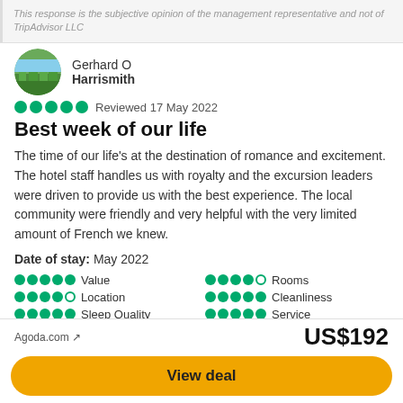This response is the subjective opinion of the management representative and not of TripAdvisor LLC
Gerhard O
Harrismith
Reviewed 17 May 2022
Best week of our life
The time of our life's at the destination of romance and excitement. The hotel staff handles us with royalty and the excursion leaders were driven to provide us with the best experience. The local community were friendly and very helpful with the very limited amount of French we knew.
Date of stay: May 2022
Value
Location
Sleep Quality
Rooms
Cleanliness
Service
Agoda.com ↗
US$192
View deal